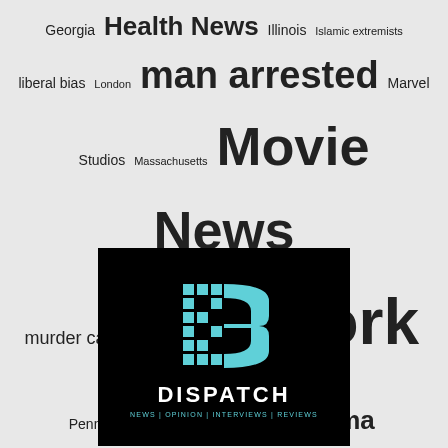[Figure (infographic): Tag cloud containing news-related topics and geographic terms in varying font sizes: Georgia, Health News, Illinois, Islamic extremists, liberal bias, London, man arrested, Marvel Studios, Massachusetts, Movie News, murder case, New York, Ohio, Pennsylvania, President Obama, President Trump, religion, Religion News, Technology, Television news, Texas, United Kingdom, US News, Washington, Washington DC, World News]
[Figure (logo): Dispatch logo on black background: pixelated/checkered D icon in teal/cyan color, text DISPATCH in white bold letters, subtitle NEWS | OPINION | INTERVIEWS | REVIEWS in teal]